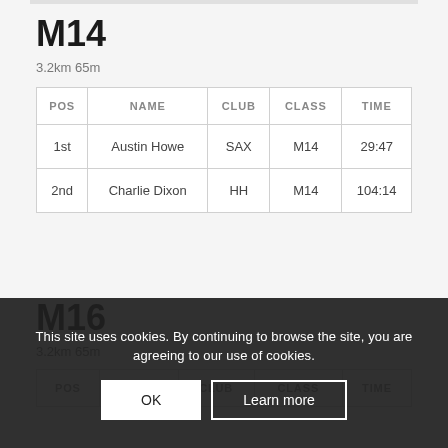M14
3.2km 65m
| POS | NAME | CLUB | CLASS | TIME |
| --- | --- | --- | --- | --- |
| 1st | Austin Howe | SAX | M14 | 29:47 |
| 2nd | Charlie Dixon | HH | M14 | 104:14 |
M16
3.2km 65m
| POS | NAME | CLUB | CLASS | TIME |
| --- | --- | --- | --- | --- |
This site uses cookies. By continuing to browse the site, you are agreeing to our use of cookies.